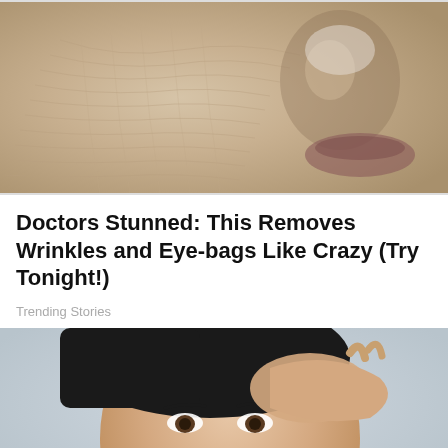[Figure (photo): Close-up photo of aged skin with visible wrinkles, dry texture, and cracked appearance around cheek/nose area. Skin appears very dry and deeply lined.]
Doctors Stunned: This Removes Wrinkles and Eye-bags Like Crazy (Try Tonight!)
Trending Stories
[Figure (photo): Portrait photo of a young dark-haired woman with her hand raised to her forehead, looking at the camera. She has a small mole near her nose and appears to have a tattoo on her arm. Background is light grey/blue.]